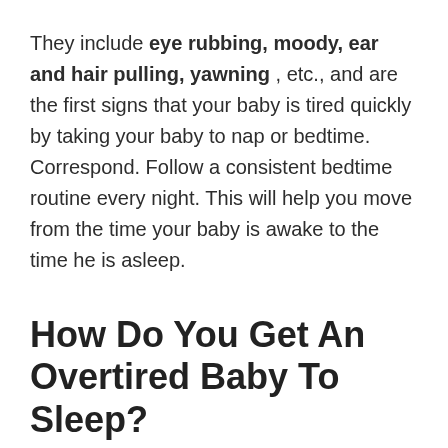They include eye rubbing, moody, ear and hair pulling, yawning , etc., and are the first signs that your baby is tired quickly by taking your baby to nap or bedtime. Correspond. Follow a consistent bedtime routine every night. This will help you move from the time your baby is awake to the time he is asleep.
How Do You Get An Overtired Baby To Sleep?
Use white noise from the sound machine to soothe a tired baby . Silence can deafen